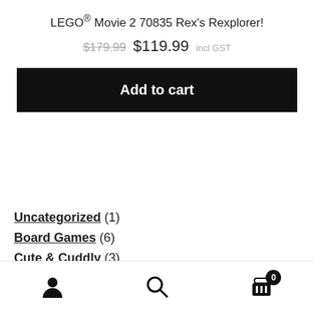LEGO® Movie 2 70835 Rex's Rexplorer!
$179.99  $119.99 incl GST
Add to cart
Uncategorized (1)
Board Games (6)
Cute & Cuddly (3)
Funko (1)
LEGO® (501)